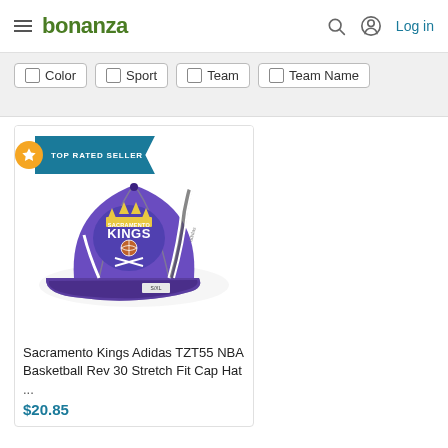bonanza  Log in
Color
Sport
Team
Team Name
[Figure (photo): Sacramento Kings purple Adidas basketball cap with Kings logo, white and grey accents, flat brim view, product listing photo on white background. TOP RATED SELLER badge overlay.]
Sacramento Kings Adidas TZT55 NBA Basketball Rev 30 Stretch Fit Cap Hat ...
$20.85